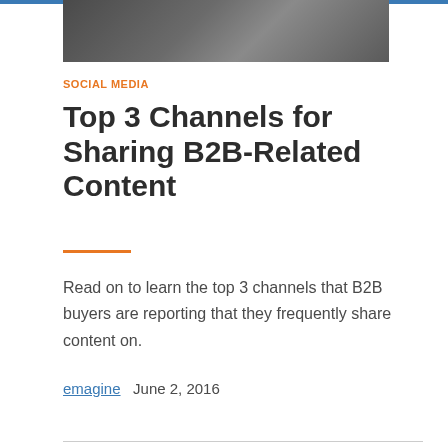[Figure (photo): Dark gray banner image at top of article]
SOCIAL MEDIA
Top 3 Channels for Sharing B2B-Related Content
Read on to learn the top 3 channels that B2B buyers are reporting that they frequently share content on.
emagine   June 2, 2016